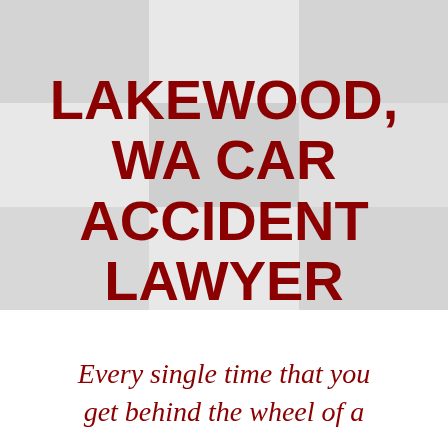LAKEWOOD, WA CAR ACCIDENT LAWYER
Every single time that you get behind the wheel of a